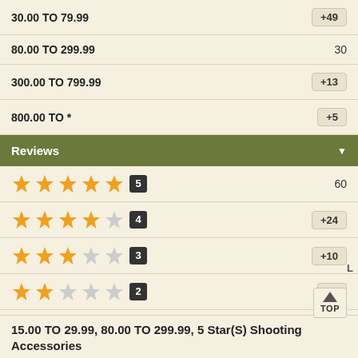30.00 TO 79.99   +49
80.00 TO 299.99   30
300.00 TO 799.99   +13
800.00 TO *   +5
Reviews
5 stars  60
4 stars  +24
3 stars  +10
2 stars  +1
1 star
15.00 TO 29.99, 80.00 TO 299.99, 5 Star(S) Shooting Accessories